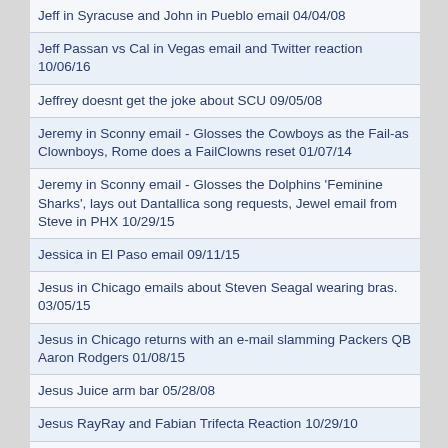Jeff in Syracuse and John in Pueblo email 04/04/08
Jeff Passan vs Cal in Vegas email and Twitter reaction 10/06/16
Jeffrey doesnt get the joke about SCU 09/05/08
Jeremy in Sconny email - Glosses the Cowboys as the Fail-as Clownboys, Rome does a FailClowns reset 01/07/14
Jeremy in Sconny email - Glosses the Dolphins 'Feminine Sharks', lays out Dantallica song requests, Jewel email from Steve in PHX 10/29/15
Jessica in El Paso email 09/11/15
Jesus in Chicago emails about Steven Seagal wearing bras. 03/05/15
Jesus in Chicago returns with an e-mail slamming Packers QB Aaron Rodgers 01/08/15
Jesus Juice arm bar 05/28/08
Jesus RayRay and Fabian Trifecta Reaction 10/29/10
Jewel teeth email 01/29/08
Jim Benton gets Harden tweet read, Rome thanks Benton and Stucknut, email from Denlesks 12/16/20
Jim Benton's mother had questions about the fellas in the SI photoshoot 08/15/17
Jim mora and larry robinson emails 04/18/06
Jimromesvacationplanner 08/28/06
Joaquin email - MMA guy punches ATM machine when it says insufficient funds 06/21/12
Joaquin email - War ordering the pay-per-view fight on grandmas cable bill